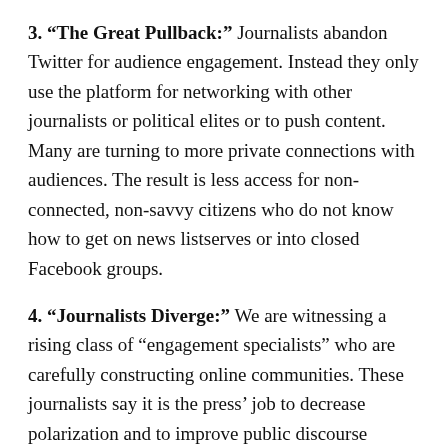3. "The Great Pullback:" Journalists abandon Twitter for audience engagement. Instead they only use the platform for networking with other journalists or political elites or to push content. Many are turning to more private connections with audiences. The result is less access for non-connected, non-savvy citizens who do not know how to get on news listserves or into closed Facebook groups.
4. "Journalists Diverge:" We are witnessing a rising class of "engagement specialists" who are carefully constructing online communities. These journalists say it is the press' job to decrease polarization and to improve public discourse through intentional and authentic engagement on specific platforms.